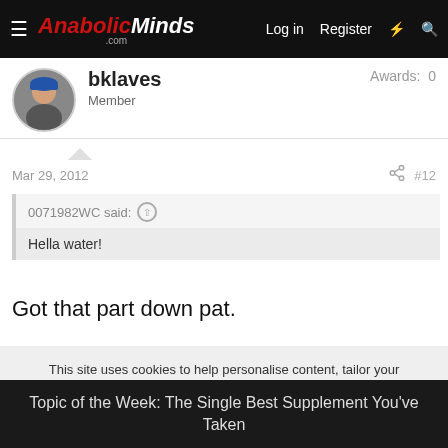AnabolicMinds.com | Log in | Register
bklaves | Member | Awards: 0
Mar 29, 2012  #12
0071982WC said:
Hella water!
Got that part down pat.
This site uses cookies to help personalise content, tailor your experience and to keep you logged in if you register.
By continuing to use this site, you are consenting to our use of cookies.
Topic of the Week: The Single Best Supplement You've Taken